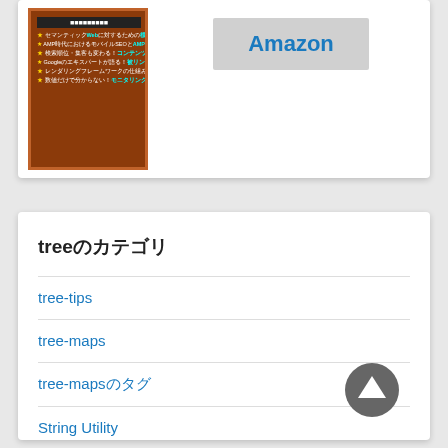[Figure (photo): Book cover with dark brown/red leather-like texture and Japanese text bullets in yellow and white]
Amazon
treeのカテゴリ
tree-tips
tree-maps
tree-mapsのタグ
String Utility
let's study hugo!